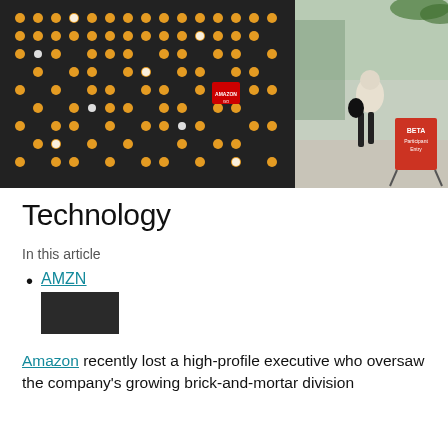[Figure (photo): Exterior photo of an Amazon Go store with a dark wall covered in yellow and white dot/LED pattern, a person walking past, and a red 'BETA Participant Entry' sandwich board sign on the sidewalk.]
Technology
In this article
AMZN
Amazon recently lost a high-profile executive who oversaw the company's growing brick-and-mortar division